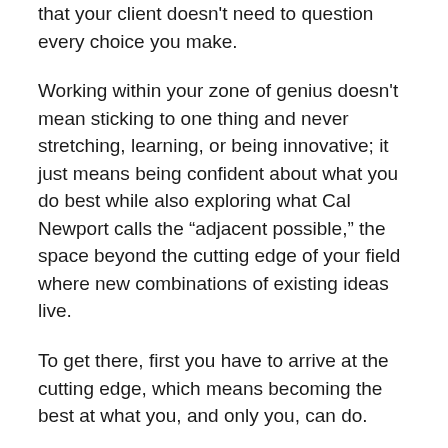that your client doesn't need to question every choice you make.
Working within your zone of genius doesn't mean sticking to one thing and never stretching, learning, or being innovative; it just means being confident about what you do best while also exploring what Cal Newport calls the “adjacent possible,” the space beyond the cutting edge of your field where new combinations of existing ideas live.
To get there, first you have to arrive at the cutting edge, which means becoming the best at what you, and only you, can do.
And finally, protect your boundaries